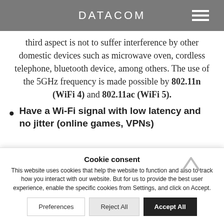DATACOM
third aspect is not to suffer interference by other domestic devices such as microwave oven, cordless telephone, bluetooth device, among others. The use of the 5GHz frequency is made possible by 802.11n (WiFi 4) and 802.11ac (WiFi 5).
Have a Wi-Fi signal with low latency and no jitter (online games, VPNs)
Cookie consent
This website uses cookies that help the website to function and also to track how you interact with our website. But for us to provide the best user experience, enable the specific cookies from Settings, and click on Accept.